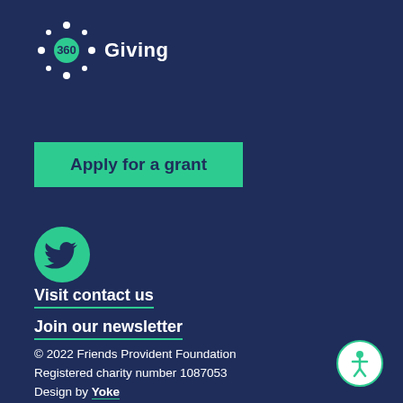[Figure (logo): 360 Giving logo with dot-circle icon and text 'Giving']
Apply for a grant
[Figure (logo): Twitter bird icon in a green circle]
Visit contact us
Join our newsletter
© 2022 Friends Provident Foundation
Registered charity number 1087053
Design by Yoke
Privacy policy
Our policies
[Figure (logo): Accessibility icon in white circle with teal border]